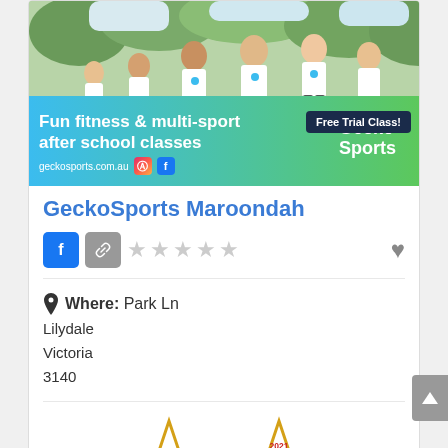[Figure (photo): GeckoSports advertisement banner showing children running in white t-shirts at an outdoor after-school sports class. Gradient bar from blue to green at bottom with text 'Fun fitness & multi-sport after school classes', website geckosports.com.au, social icons, Gecko Sports logo, and 'Free Trial Class!' badge.]
GeckoSports Maroondah
Where: Park Ln
Lilydale
Victoria
3140
[Figure (infographic): Two award star badges: '2021 FINALIST' and '2021 JUDGED WINNER' in gold star outline with red text]
Leading the way in getting kids active